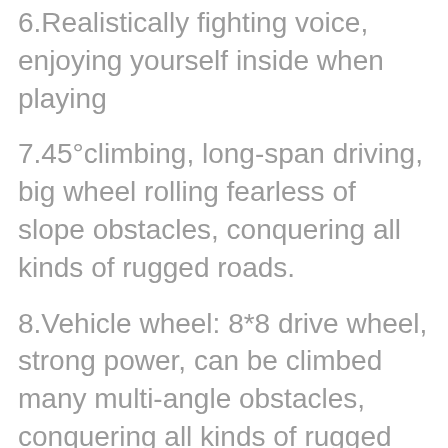6.Realistically fighting voice, enjoying yourself inside when playing
7.45°climbing, long-span driving, big wheel rolling fearless of slope obstacles, conquering all kinds of rugged roads.
8.Vehicle wheel: 8*8 drive wheel, strong power, can be climbed many multi-angle obstacles, conquering all kinds of rugged roads.
9.Chassis of tank: most of the spare parts are made of metal materials, like differential mechanisms and set of transmission shaft,